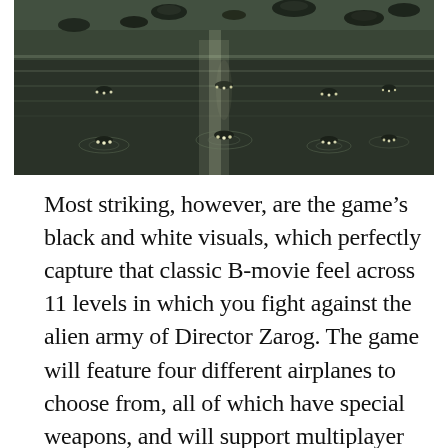[Figure (screenshot): Black and white game screenshot showing an aerial/top-down view of water or a wet surface with UFO-like objects hovering above it. The scene is in grayscale with a dark, moody atmosphere.]
Most striking, however, are the game's black and white visuals, which perfectly capture that classic B-movie feel across 11 levels in which you fight against the alien army of Director Zarog. The game will feature four different airplanes to choose from, all of which have special weapons, and will support multiplayer gameplay as well. There's a free to play prologue planned for later this year, with a full release for PC, Xbox, PlayStation and the